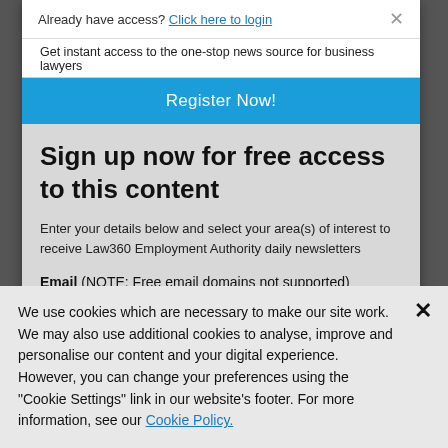Already have access? Click here to login
Get instant access to the one-stop news source for business lawyers
Register Now!
Sign up now for free access to this content
Enter your details below and select your area(s) of interest to receive Law360 Employment Authority daily newsletters
Email (NOTE: Free email domains not supported)
We use cookies which are necessary to make our site work. We may also use additional cookies to analyse, improve and personalise our content and your digital experience. However, you can change your preferences using the "Cookie Settings" link in our website's footer. For more information, see our Cookie Policy.